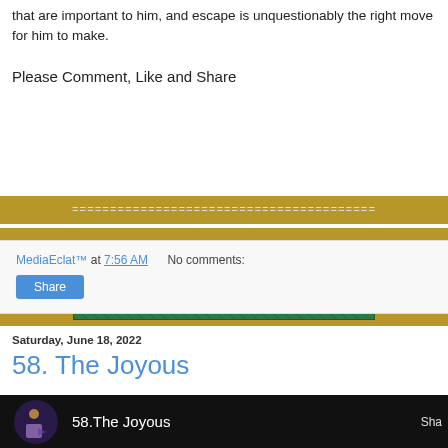that are important to him, and escape is unquestionably the right move for him to make.
Please Comment, Like and Share
[Figure (other): Gold banner with equals signs divider and #mycal8 green banner reading '#mycal8 Our Calendar of Days. Blog Post.']
MediaEclat™ at 7:56 AM   No comments:
Share
Saturday, June 18, 2022
58. The Joyous
[Figure (screenshot): Video thumbnail showing '58. The Joyous' title with character icon on black background, and 'Sha' text at right edge.]